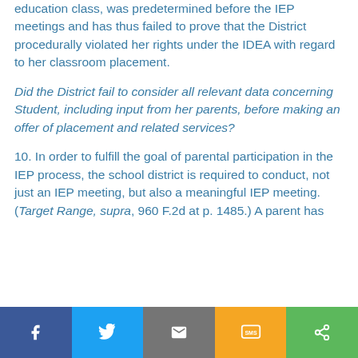education class, was predetermined before the IEP meetings and has thus failed to prove that the District procedurally violated her rights under the IDEA with regard to her classroom placement.
Did the District fail to consider all relevant data concerning Student, including input from her parents, before making an offer of placement and related services?
10. In order to fulfill the goal of parental participation in the IEP process, the school district is required to conduct, not just an IEP meeting, but also a meaningful IEP meeting. (Target Range, supra, 960 F.2d at p. 1485.) A parent has